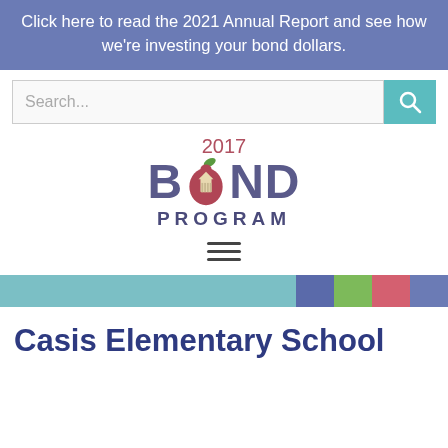Click here to read the 2021 Annual Report and see how we're investing your bond dollars.
[Figure (screenshot): Search bar with teal search button containing a magnifying glass icon]
[Figure (logo): 2017 Bond Program logo with apple icon containing a capitol building, text reads '2017 BOND PROGRAM']
[Figure (other): Hamburger menu icon with three horizontal lines]
[Figure (other): Decorative color bar with teal, blue, green, pink, and purple segments]
Casis Elementary School